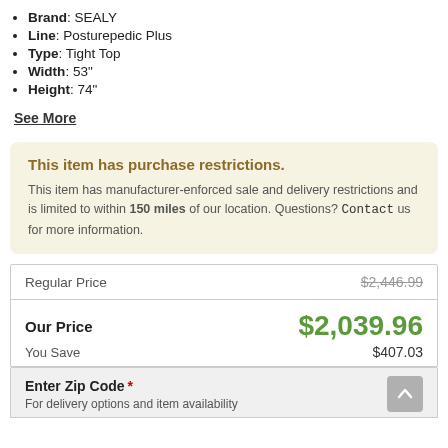Brand: SEALY
Line: Posturepedic Plus
Type: Tight Top
Width: 53"
Height: 74"
See More
This item has purchase restrictions. This item has manufacturer-enforced sale and delivery restrictions and is limited to within 150 miles of our location. Questions? Contact us for more information.
|  |  |
| --- | --- |
| Regular Price | $2,446.99 |
| Our Price | $2,039.96 |
| You Save | $407.03 |
Enter Zip Code * For delivery options and item availability